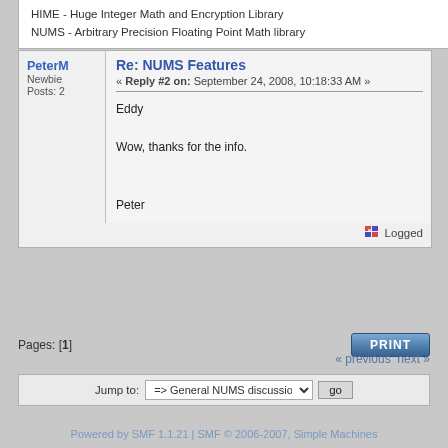HIME - Huge Integer Math and Encryption Library
NUMS - Arbitrary Precision Floating Point Math library
Re: NUMS Features
« Reply #2 on: September 24, 2008, 10:18:33 AM »
PeterM
Newbie
Posts: 2
Eddy

Wow, thanks for the info.


Peter
Logged
Pages: [1]
« previous next »
Jump to: => General NUMS discussions
Powered by SMF 1.1.21 | SMF © 2006-2007, Simple Machines